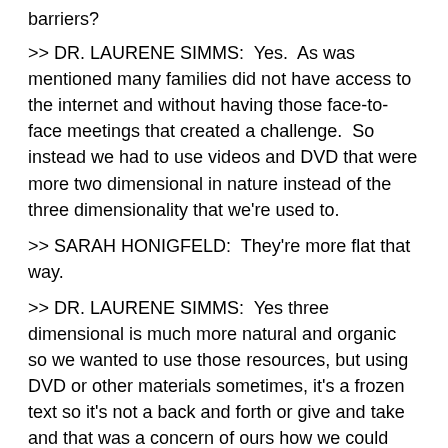barriers?
>> DR. LAURENE SIMMS:  Yes.  As was mentioned many families did not have access to the internet and without having those face-to-face meetings that created a challenge.  So instead we had to use videos and DVD that were more two dimensional in nature instead of the three dimensionality that we're used to.
>> SARAH HONIGFELD:  They're more flat that way.
>> DR. LAURENE SIMMS:  Yes three dimensional is much more natural and organic so we wanted to use those resources, but using DVD or other materials sometimes, it's a frozen text so it's not a back and forth or give and take and that was a concern of ours how we could promote bilingualism without a 3D environment.
>> SARAH HONIGFELD:  Real life experience is always the